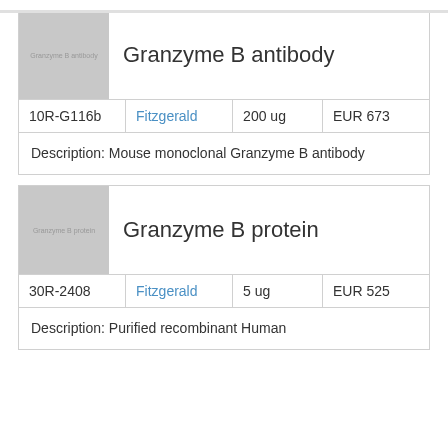| Image | Title |  |  |  |
| --- | --- | --- | --- | --- |
| Granzyme B antibody |  |  |  |
| 10R-G116b | Fitzgerald | 200 ug | EUR 673 |
| Description: Mouse monoclonal Granzyme B antibody |  |  |  |
| Image | Title |  |  |  |
| --- | --- | --- | --- | --- |
| Granzyme B protein |  |  |  |
| 30R-2408 | Fitzgerald | 5 ug | EUR 525 |
| Description: Purified recombinant Human |  |  |  |